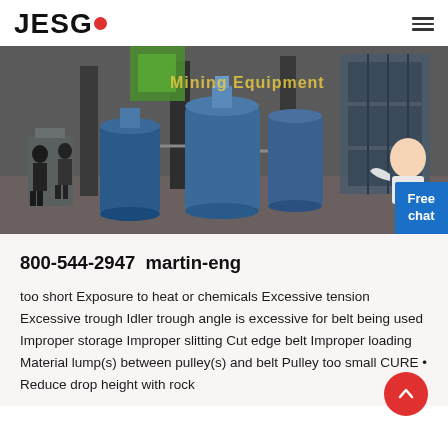JESCO
[Figure (photo): Factory interior photo showing industrial mining equipment including large blue cylindrical machines, workers in the background, and a green structure. Text overlay reads 'Mining Equipment'.]
800-544-2947  martin-eng
too short Exposure to heat or chemicals Excessive tension Excessive trough Idler trough angle is excessive for belt being used Improper storage Improper slitting Cut edge belt Improper loading Material lump(s) between pulley(s) and belt Pulley too small CURE • Reduce drop height with rock